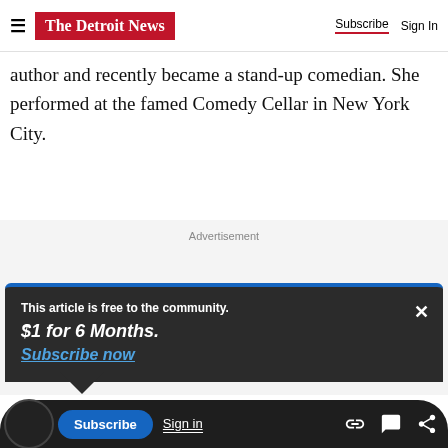The Detroit News — Subscribe | Sign In
author and recently became a stand-up comedian. She performed at the famed Comedy Cellar in New York City.
Advertisement
This article is free to the community.
$1 for 6 Months.
Subscribe now